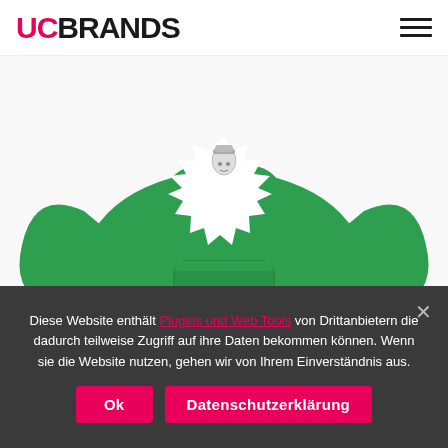UCBRANDS
[Figure (photo): Green hoodie sweatshirt with a large white star-burst graphic on the front chest area featuring a small illustration of a person wearing a cap. The hoodie has a front kangaroo pocket.]
HOODIE
Diese Website enthält Plugins und Web Tools von Drittanbietern die dadurch teilweise Zugriff auf ihre Daten bekommen können. Wenn sie die Website nutzen, gehen wir von Ihrem Einverständnis aus.
Ok   Datenschutzerklärung